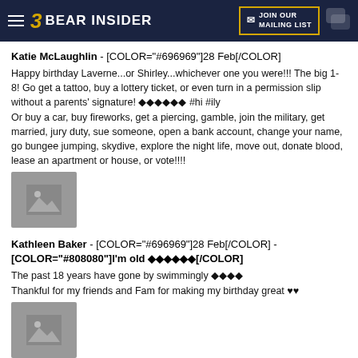Bear Insider - JOIN OUR MAILING LIST
Katie McLaughlin - [COLOR="#696969"]28 Feb[/COLOR]
Happy birthday Laverne...or Shirley...whichever one you were!!! The big 1-8! Go get a tattoo, buy a lottery ticket, or even turn in a permission slip without a parents' signature! ❖❖❖❖❖❖ #hi #ily
Or buy a car, buy fireworks, get a piercing, gamble, join the military, get married, jury duty, sue someone, open a bank account, change your name, go bungee jumping, skydive, explore the night life, move out, donate blood, lease an apartment or house, or vote!!!!
[Figure (photo): Image placeholder with mountain/photo icon]
Kathleen Baker - [COLOR="#696969"]28 Feb[/COLOR] - [COLOR="#808080"]I'm old ❖❖❖❖❖❖[/COLOR]
The past 18 years have gone by swimmingly ❖❖❖❖
Thankful for my friends and Fam for making my birthday great ♥♥
[Figure (photo): Image placeholder with mountain/photo icon]
–––––––––––––––––